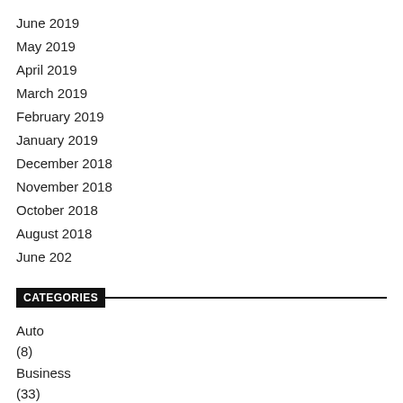June 2019
May 2019
April 2019
March 2019
February 2019
January 2019
December 2018
November 2018
October 2018
August 2018
June 202
CATEGORIES
Auto
(8)
Business
(33)
Education
(9)